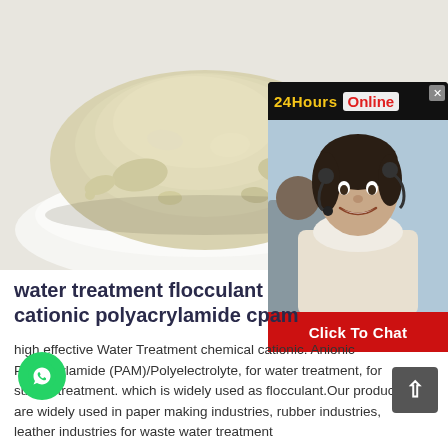[Figure (photo): Pale yellow-green powder (cationic polyacrylamide) piled on a white plate, photographed on a white background.]
[Figure (screenshot): 24Hours Online chat support overlay showing a female customer service agent wearing a headset and smiling, with a 'Click To Chat' red button at the bottom.]
water treatment flocculant cationic polyacrylamide cpam
high effective Water Treatment chemical cationic. Anionic Polyacrylamide (PAM)/Polyelectrolyte, for water treatment, for suldge treatment. which is widely used as flocculant.Our products are widely used in paper making industries, rubber industries, leather industries for waste water treatment